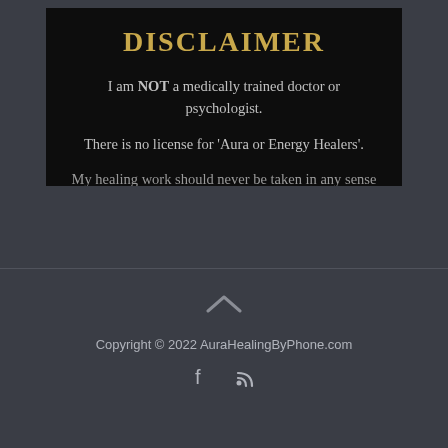DISCLAIMER
I am NOT a medically trained doctor or psychologist.
There is no license for 'Aura or Energy Healers'.
My healing work should never be taken in any sense
Copyright © 2022 AuraHealingByPhone.com